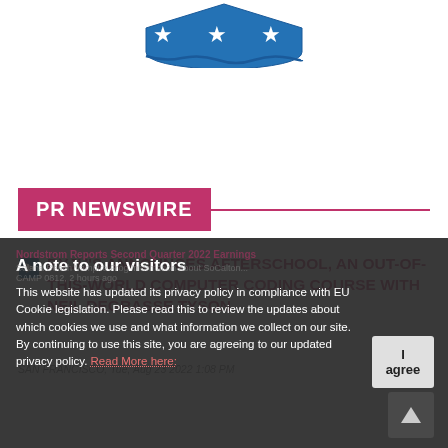[Figure (logo): Blue shield/badge logo with stars, partially cropped at top]
PR NEWSWIRE
BYJU'S ANNOUNCES AFTERSCHOOL, AN OUT-OF-THIS-WORLD COMPUTER CODING COURSE WITH NEIL DEGRASSE TYSON
SAN FRANCISCO, Tue, Aug 23 2022 1:08 PM
Nordstrom Reports Second Quarter 2022 Earnings
Solana Beach Vampire Frog Information about SoCalNatural...
CAMP 0812, 2 hours ago
A note to our visitors
This website has updated its privacy policy in compliance with EU Cookie legislation. Please read this to review the updates about which cookies we use and what information we collect on our site. By continuing to use this site, you are agreeing to our updated privacy policy. Read More here: